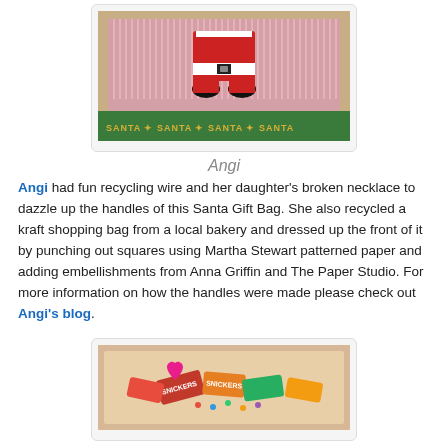[Figure (photo): Photo of a Santa Gift Bag made from a kraft shopping bag with pink yarn/fringe, Santa Claus figure applique in red, white and black, with 'SANTA' text repeated along the bottom green border.]
Angi
Angi had fun recycling wire and her daughter's broken necklace to dazzle up the handles of this Santa Gift Bag. She also recycled a kraft shopping bag from a local bakery and dressed up the front of it by punching out squares using Martha Stewart patterned paper and adding embellishments from Anna Griffin and The Paper Studio. For more information on how the handles were made please check out Angi's blog.
[Figure (photo): Photo of a decorated gift bag or box with candy/chocolates including Snickers bars and other wrapped candies, with a pink heart embellishment, on a tan/kraft paper background.]